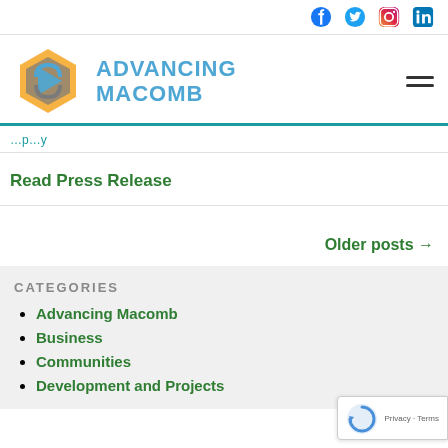Social media icons: Facebook, Twitter, Instagram, LinkedIn
[Figure (logo): Advancing Macomb logo with hexagon and arrow icon in gold, gray, and blue, with text ADVANCING MACOMB in blue]
Read Press Release
Older posts →
CATEGORIES
Advancing Macomb
Business
Communities
Development and Projects